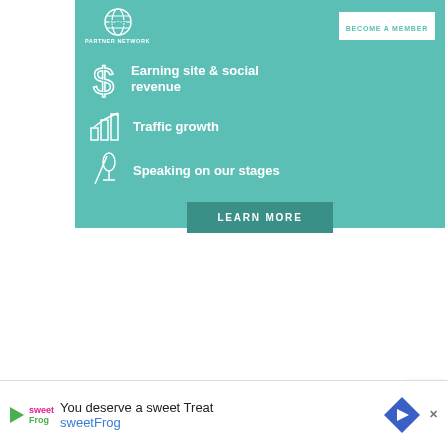[Figure (infographic): SHE Media Partner Network teal banner ad with dollar sign icon for 'Earning site & social revenue', bar chart icon for 'Traffic growth', microphone icon for 'Speaking on our stages', and a 'LEARN MORE' button. Also includes 'BECOME A MEMBER' button at top right.]
[Figure (infographic): sweetFrog advertisement banner at bottom: 'You deserve a sweet Treat' with sweetFrog logo, navigation arrow icon, and close X button.]